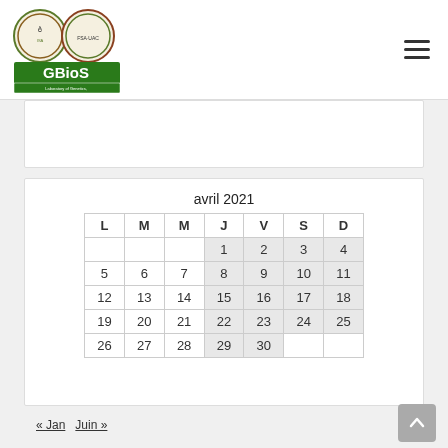[Figure (logo): GBioS Laboratory of Genetics, Horticulture and Seed Science logo with two circular emblems and green banner]
| L | M | M | J | V | S | D |
| --- | --- | --- | --- | --- | --- | --- |
|  |  |  | 1 | 2 | 3 | 4 |
| 5 | 6 | 7 | 8 | 9 | 10 | 11 |
| 12 | 13 | 14 | 15 | 16 | 17 | 18 |
| 19 | 20 | 21 | 22 | 23 | 24 | 25 |
| 26 | 27 | 28 | 29 | 30 |  |  |
« Jan   Juin »